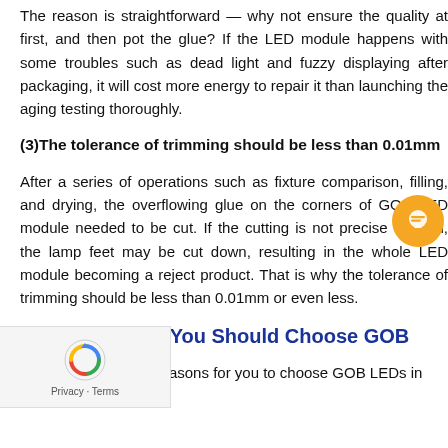The reason is straightforward — why not ensure the quality at first, and then pot the glue? If the LED module happens with some troubles such as dead light and fuzzy displaying after packaging, it will cost more energy to repair it than launching the aging testing thoroughly.
(3)The tolerance of trimming should be less than 0.01mm
After a series of operations such as fixture comparison, filling, and drying, the overflowing glue on the corners of GOB LED module needed to be cut. If the cutting is not precise enough, the lamp feet may be cut down, resulting in the whole LED module becoming a reject product. That is why the tolerance of trimming should be less than 0.01mm or even less.
Part Five - Why You Should Choose GOB
We will list the main reasons for you to choose GOB LEDs in